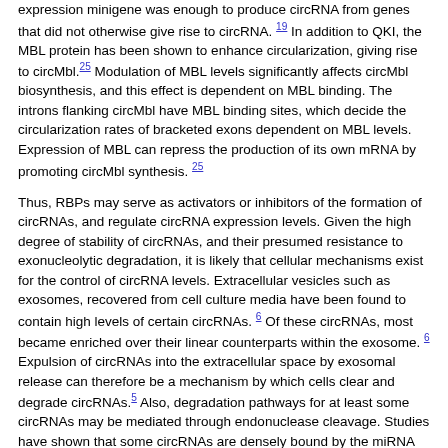expression minigene was enough to produce circRNA from genes that did not otherwise give rise to circRNA. [19] In addition to QKI, the MBL protein has been shown to enhance circularization, giving rise to circMbl.[25] Modulation of MBL levels significantly affects circMbl biosynthesis, and this effect is dependent on MBL binding. The introns flanking circMbl have MBL binding sites, which decide the circularization rates of bracketed exons dependent on MBL levels. Expression of MBL can repress the production of its own mRNA by promoting circMbl synthesis. [25]
Thus, RBPs may serve as activators or inhibitors of the formation of circRNAs, and regulate circRNA expression levels. Given the high degree of stability of circRNAs, and their presumed resistance to exonucleolytic degradation, it is likely that cellular mechanisms exist for the control of circRNA levels. Extracellular vesicles such as exosomes, recovered from cell culture media have been found to contain high levels of certain circRNAs. [6] Of these circRNAs, most became enriched over their linear counterparts within the exosome. [6] Expulsion of circRNAs into the extracellular space by exosomal release can therefore be a mechanism by which cells clear and degrade circRNAs.[5] Also, degradation pathways for at least some circRNAs may be mediated through endonuclease cleavage. Studies have shown that some circRNAs are densely bound by the miRNA effector protein Ago2, and the ciR-7/CDR1as is subject to the slicer activity of Ago2 in an miR-671 dependent manner.[42]
Our recent study showed that in the G1 restriction phase, NIH3T3 cells express higher levels of circ-Foxo3 relative to the S and G2 phases.[15] Endogenous circ-Foxo3 expression decreased when the cells were treated with epidermal growth factor (EGF), and increased when cells were treated with the EGF inhibitor AG1478. Thus there was a correlation